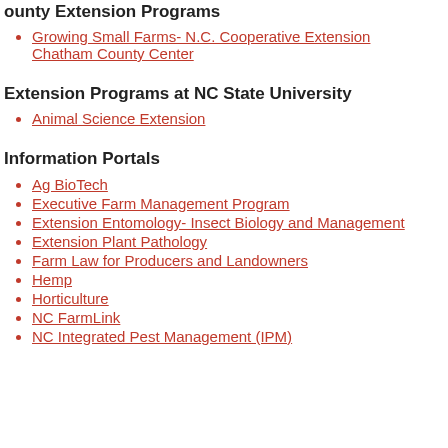County Extension Programs
Growing Small Farms- N.C. Cooperative Extension Chatham County Center
Extension Programs at NC State University
Animal Science Extension
Information Portals
Ag BioTech
Executive Farm Management Program
Extension Entomology- Insect Biology and Management
Extension Plant Pathology
Farm Law for Producers and Landowners
Hemp
Horticulture
NC FarmLink
NC Integrated Pest Management (IPM)